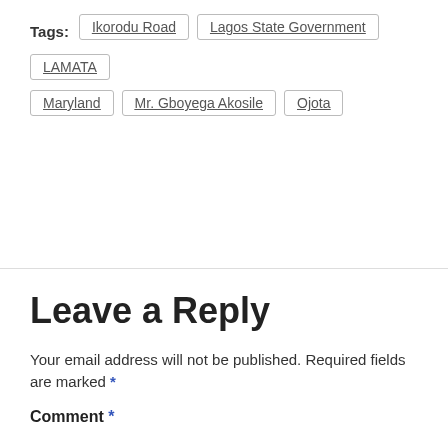Tags: Ikorodu Road | Lagos State Government | LAMATA | Maryland | Mr. Gboyega Akosile | Ojota
Leave a Reply
Your email address will not be published. Required fields are marked *
Comment *